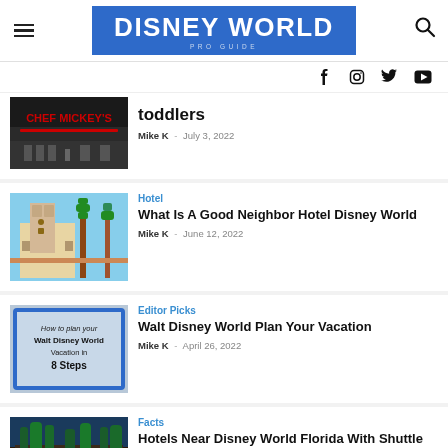DISNEY WORLD PRO GUIDE
[Figure (screenshot): Social media icons: Facebook, Instagram, Twitter, YouTube]
[Figure (photo): Chef Mickey's restaurant exterior sign (partially visible, top cut off)]
toddlers
Mike K  -  July 3, 2022
[Figure (photo): Hotel building with tower and palm tree against blue sky]
Hotel
What Is A Good Neighbor Hotel Disney World
Mike K  -  June 12, 2022
[Figure (illustration): Blue-bordered graphic: How to plan your Walt Disney World Vacation in 8 Steps]
Editor Picks
Walt Disney World Plan Your Vacation
Mike K  -  April 26, 2022
[Figure (photo): Hotel exterior with palm trees at dusk/night (partially visible, bottom cut off)]
Facts
Hotels Near Disney World Florida With Shuttle Service